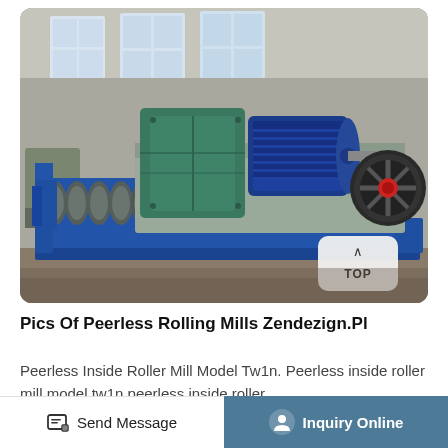[Figure (photo): Industrial rolling mill machine in a factory/warehouse setting. The machine has a large blue steel frame/base, green gearbox housing on the left, blue electric motor in the center, and a large flywheel on the right. Multiple rollers are visible at the front-left of the machine. The factory background shows large windows and industrial ceiling structure.]
Pics Of Peerless Rolling Mills Zendezign.Pl
Peerless Inside Roller Mill Model Tw1n. Peerless inside roller mill model tw1n peerless inside roller
Send Message
Inquiry Online